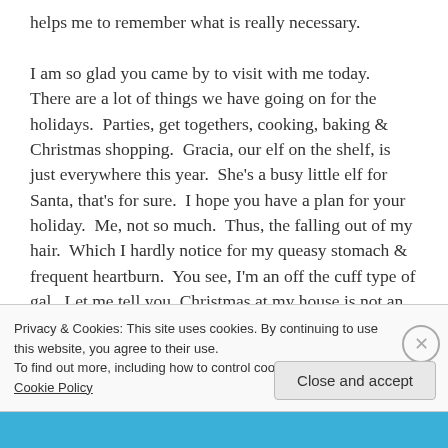helps me to remember what is really necessary.

I am so glad you came by to visit with me today.  There are a lot of things we have going on for the holidays.  Parties, get togethers, cooking, baking & Christmas shopping.  Gracia, our elf on the shelf, is just everywhere this year.  She's a busy little elf for Santa, that's for sure.  I hope you have a plan for your holiday.  Me, not so much.  Thus, the falling out of my hair.  Which I hardly notice for my queasy stomach & frequent heartburn.  You see, I'm an off the cuff type of gal.  Let me tell you, Christmas at my house is not an off the cuff kind of holiday.  There's
Privacy & Cookies: This site uses cookies. By continuing to use this website, you agree to their use.
To find out more, including how to control cookies, see here: Cookie Policy
Close and accept